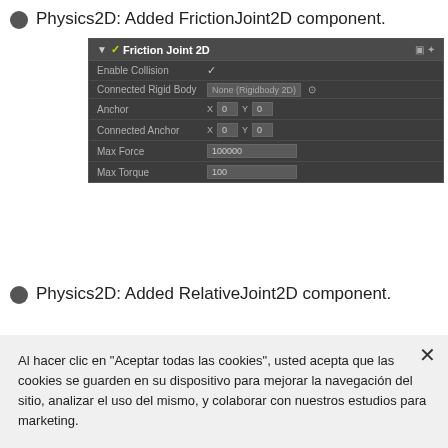Physics2D: Added FrictionJoint2D component.
[Figure (screenshot): Unity Inspector screenshot showing Friction Joint 2D component with fields: Enable Collision (checked), Connected Rigid Body (None Rigidbody 2D), Anchor (X 0, Y 0), Connected Anchor (X 0, Y 0), Max Force (100000), Max Torque (100)]
Physics2D: Added RelativeJoint2D component.
Al hacer clic en “Aceptar todas las cookies”, usted acepta que las cookies se guarden en su dispositivo para mejorar la navegación del sitio, analizar el uso del mismo, y colaborar con nuestros estudios para marketing.
Configuración de cookies
Aceptar todas las cookies